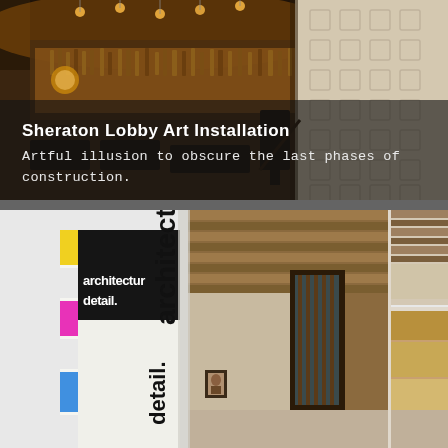[Figure (photo): Interior bar/lobby scene with warm amber lighting, bottles on illuminated shelves, modern furniture, and decorative patterned wall panel on right side.]
Sheraton Lobby Art Installation
Artful illusion to obscure the last phases of construction.
[Figure (photo): Architecture book titled 'architectur detail.' with colorful spine tabs (yellow, pink, blue), displayed alongside architectural interior photos showing wooden ceiling, glass doors, and room interiors.]